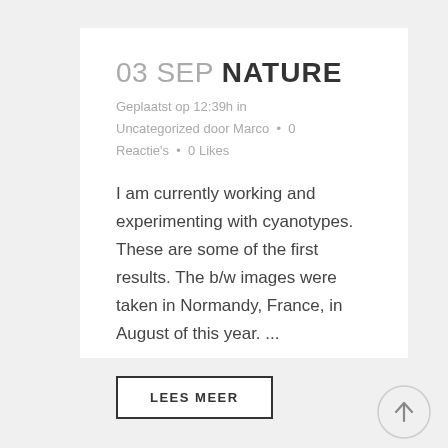03 SEP NATURE
Geplaatst op 12:39h in Uncategorized door Marco • 0 Reactie's • 0 Likes
I am currently working and experimenting with cyanotypes. These are some of the first results. The b/w images were taken in Normandy, France, in August of this year. ...
LEES MEER
[Figure (illustration): Up arrow icon inside a circle, used as a scroll-to-top button]